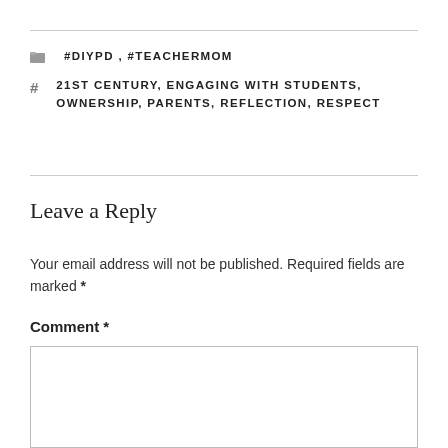#DIYPD, #TEACHERMOM
21ST CENTURY, ENGAGING WITH STUDENTS, OWNERSHIP, PARENTS, REFLECTION, RESPECT
Leave a Reply
Your email address will not be published. Required fields are marked *
Comment *